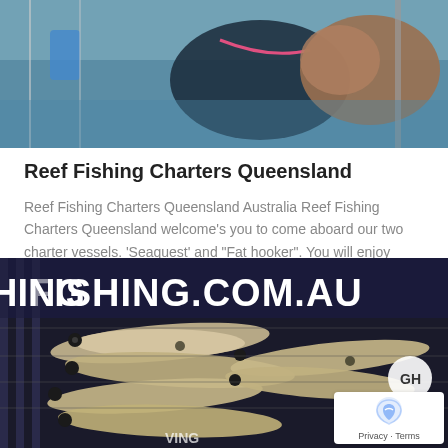[Figure (photo): Top photo showing a person on a fishing charter boat with water and equipment visible in background, with a large fish in foreground]
Reef Fishing Charters Queensland
Reef Fishing Charters Queensland Australia Reef Fishing Charters Queensland welcome's you to come aboard our two charter vessels. 'Seaquest' and "Fat hooker". You will enjoy
[Figure (photo): Photo of multiple fish (whiting/bream style) displayed on a rack in front of a banner reading FISHING.COM.AU, with a reCAPTCHA badge overlay in bottom right corner showing Privacy - Terms]